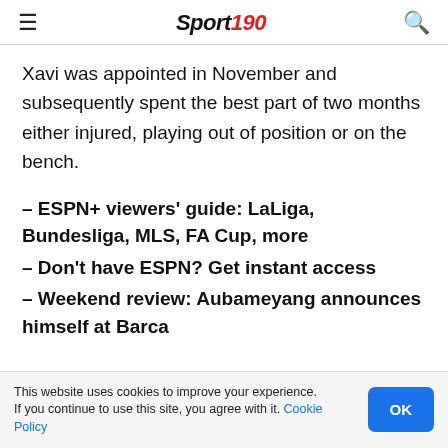Sport 190
Xavi was appointed in November and subsequently spent the best part of two months either injured, playing out of position or on the bench.
– ESPN+ viewers' guide: LaLiga, Bundesliga, MLS, FA Cup, more
– Don't have ESPN? Get instant access
– Weekend review: Aubameyang announces himself at Barca
This website uses cookies to improve your experience. If you continue to use this site, you agree with it. Cookie Policy